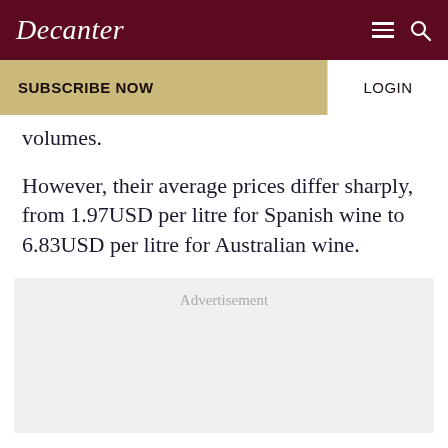Decanter
SUBSCRIBE NOW   LOGIN
volumes.
However, their average prices differ sharply, from 1.97USD per litre for Spanish wine to 6.83USD per litre for Australian wine.
Advertisement